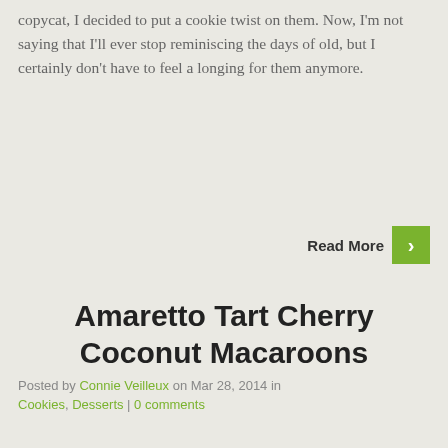copycat, I decided to put a cookie twist on them. Now, I'm not saying that I'll ever stop reminiscing the days of old, but I certainly don't have to feel a longing for them anymore.
Read More
Amaretto Tart Cherry Coconut Macaroons
Posted by Connie Veilleux on Mar 28, 2014 in Cookies, Desserts | 0 comments
[Figure (photo): Photo of coconut macaroon cookies on a white plate]
This macaroon recipe is